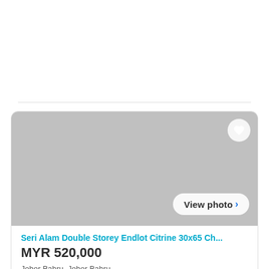[Figure (screenshot): Property listing card showing a gray placeholder image area with a heart/favorite button in the top right corner and a 'View photo >' button in the lower right. Below the image: listing title in cyan 'Seri Alam Double Storey Endlot Citrine 30x65 Ch...', price 'MYR 520,000' in dark bold, location 'Johor Bahru, Johor Bahru', and a partially visible cyan description line.]